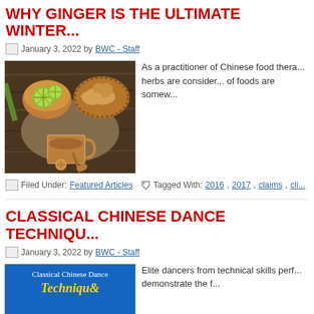WHY GINGER IS THE ULTIMATE WINTER...
January 3, 2022 by BWC - Staff
[Figure (photo): Overhead shot of ginger root, lime slices in a bowl, green leaf, and a glass mug of ginger tea on a wooden surface with burlap]
As a practitioner of Chinese food therapy, herbs are considered of foods are somew...
Filed Under: Featured Articles   Tagged With: 2016, 2017, claims, cli...
CLASSICAL CHINESE DANCE TECHNIQU...
January 3, 2022 by BWC - Staff
[Figure (photo): Blue banner image for Classical Chinese Dance Techniques with decorative italic text]
Elite dancers from technical skills perf... demonstrate the f...